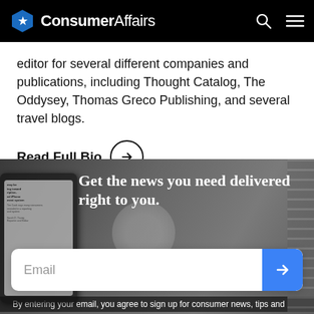ConsumerAffairs
editor for several different companies and publications, including Thought Catalog, The Oddysey, Thomas Greco Publishing, and several travel blogs.
Read Full Bio →
[Figure (screenshot): Dark banner with a smartphone showing a news article and a notebook/coffee cup in the background, overlaid with white headline text: 'Get the news you need delivered right to you.']
Email
By entering your email, you agree to sign up for consumer news, tips and